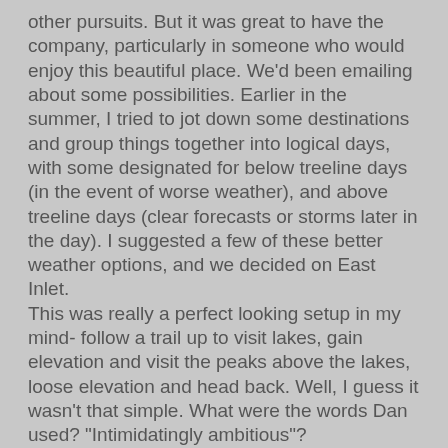other pursuits.  But it was great to have the company, particularly in someone who would enjoy this beautiful place.  We'd been emailing about some possibilities.  Earlier in the summer, I tried to jot down some destinations and group things together into logical days, with some designated for below treeline days (in the event of worse weather), and above treeline days (clear forecasts or storms later in the day).  I suggested a few of these better weather options, and we decided on East Inlet.
This was really a perfect looking setup in my mind- follow a trail up to visit lakes, gain elevation and visit the peaks above the lakes, loose elevation and head back.  Well, I guess it wasn't that simple.  What were the words Dan used? "Intimidatingly ambitious"?
We met in Lyons as usual and started the long drive up.  The forecast was looking good but not great.  Partial sun with some possible showers in the afternoon.  It was raining as we entered RMNP, but we hit patches of dryness and finally drove into clouds near the top of Trail Ridge Road.
On the other side, a calmer sense of weather prevailed.  We started in darkness with headlamps on.  This trail flows pretty well, and we made good time moving up though some